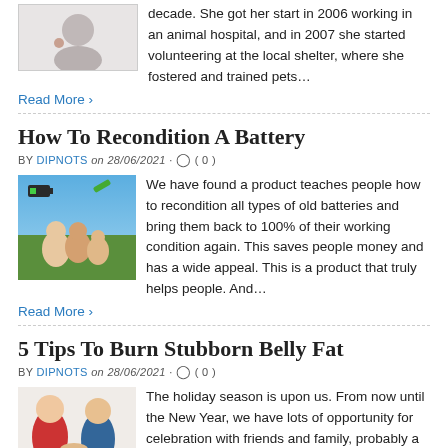decade. She got her start in 2006 working in an animal hospital, and in 2007 she started volunteering at the local shelter, where she fostered and trained pets… Read More ›
How To Recondition A Battery
BY DIPNOTS on 28/06/2021 · ( 0 )
[Figure (photo): Battery reconditioning product promotional image with family]
We have found a product teaches people how to recondition all types of old batteries and bring them back to 100% of their working condition again. This saves people money and has a wide appeal. This is a product that truly helps people. And… Read More ›
5 Tips To Burn Stubborn Belly Fat
BY DIPNOTS on 28/06/2021 · ( 0 )
[Figure (photo): Two women sitting together, one in red and one in blue]
The holiday season is upon us. From now until the New Year, we have lots of opportunity for celebration with friends and family, probably a few strangers as well. With all the